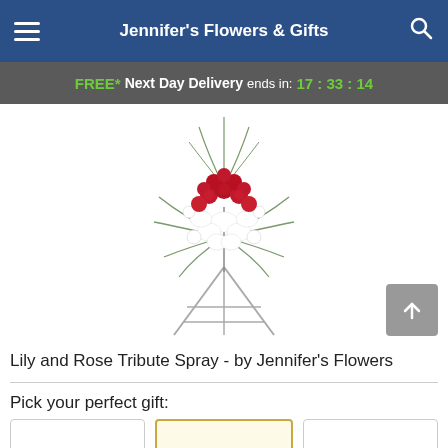Jennifer's Flowers & Gifts
FREE* Next Day Delivery ends in: 17:33:14
[Figure (photo): A floral standing spray arrangement featuring red roses and white lilies on a metal easel stand]
Lily and Rose Tribute Spray - by Jennifer's Flowers
Pick your perfect gift: